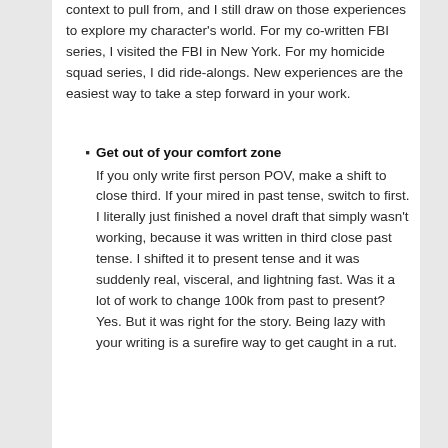context to pull from, and I still draw on those experiences to explore my character's world. For my co-written FBI series, I visited the FBI in New York. For my homicide squad series, I did ride-alongs. New experiences are the easiest way to take a step forward in your work.
Get out of your comfort zone
If you only write first person POV, make a shift to close third. If your mired in past tense, switch to first. I literally just finished a novel draft that simply wasn't working, because it was written in third close past tense. I shifted it to present tense and it was suddenly real, visceral, and lightning fast. Was it a lot of work to change 100k from past to present? Yes. But it was right for the story. Being lazy with your writing is a surefire way to get caught in a rut.